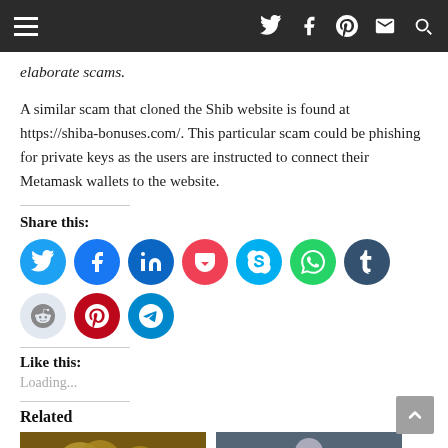Navigation bar with hamburger menu and social/search icons
elaborate scams.
A similar scam that cloned the Shib website is found at https://shiba-bonuses.com/. This particular scam could be phishing for private keys as the users are instructed to connect their Metamask wallets to the website.
Share this:
[Figure (infographic): Row of 10 circular social sharing icons: Twitter (blue), Facebook (blue), LinkedIn (dark blue), Pocket (red), Skype (light blue), WhatsApp (green), Tumblr (dark navy), Reddit (light gray), Pinterest (red), Telegram (blue)]
Like this:
Loading...
Related
[Figure (photo): Photo of gold coins cryptocurrency]
[Figure (photo): Photo of a person against gray background]